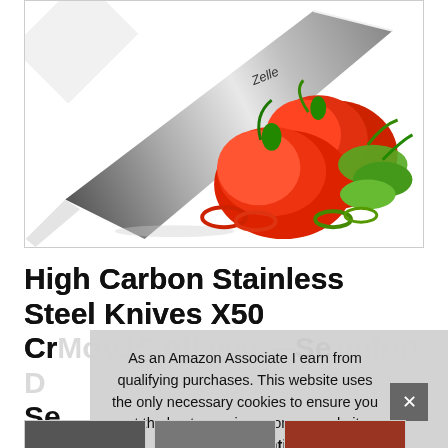[Figure (photo): A Zelle-branded chef's knife with a silver blade, positioned diagonally, next to sliced red and green bell peppers on a white background]
High Carbon Stainless Steel Knives X50 Cr MoV15 All 000 -- Comfort D Se
As an Amazon Associate I earn from qualifying purchases. This website uses the only necessary cookies to ensure you get the best experience on our website. More information
[Figure (photo): Partial thumbnail images visible at bottom of page]